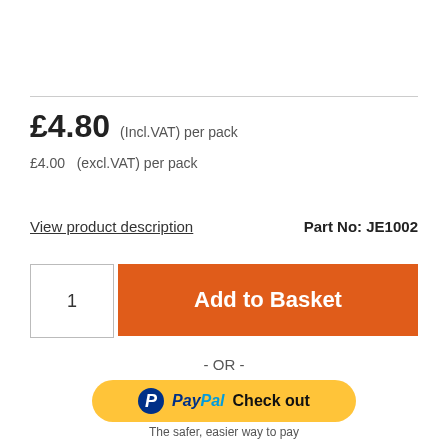£4.80 (Incl.VAT) per pack
£4.00 (excl.VAT) per pack
View product description
Part No: JE1002
1
Add to Basket
- OR -
[Figure (logo): PayPal Check out button with yellow background]
The safer, easier way to pay